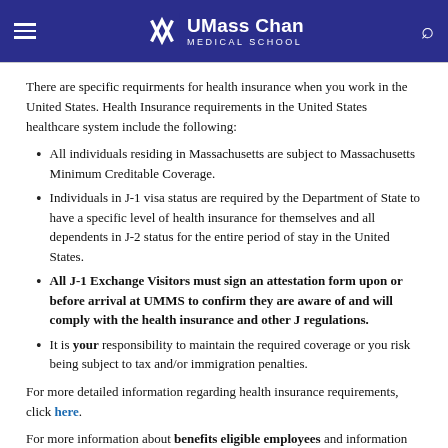UMass Chan Medical School
There are specific requirments for health insurance when you work in the United States. Health Insurance requirements in the United States healthcare system include the following:
All individuals residing in Massachusetts are subject to Massachusetts Minimum Creditable Coverage.
Individuals in J-1 visa status are required by the Department of State to have a specific level of health insurance for themselves and all dependents in J-2 status for the entire period of stay in the United States.
All J-1 Exchange Visitors must sign an attestation form upon or before arrival at UMMS to confirm they are aware of and will comply with the health insurance and other J regulations.
It is your responsibility to maintain the required coverage or you risk being subject to tax and/or immigration penalties.
For more detailed information regarding health insurance requirements, click here.
For more information about benefits eligible employees and information for non-benefits eligible employees please see below: